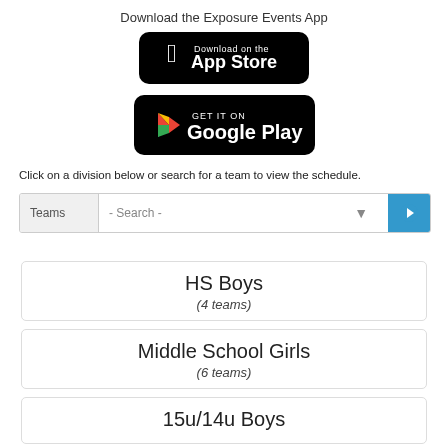Download the Exposure Events App
[Figure (logo): Download on the App Store button (black rounded rectangle with Apple logo)]
[Figure (logo): Get it on Google Play button (black rounded rectangle with Google Play logo)]
Click on a division below or search for a team to view the schedule.
Teams  - Search -  [search button]
HS Boys
(4 teams)
Middle School Girls
(6 teams)
15u/14u Boys